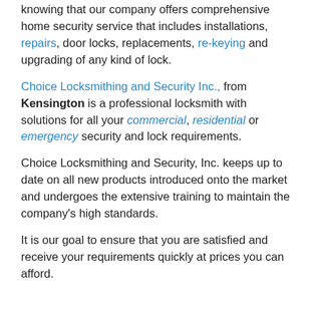knowing that our company offers comprehensive home security service that includes installations, repairs, door locks, replacements, re-keying and upgrading of any kind of lock.
Choice Locksmithing and Security Inc., from Kensington is a professional locksmith with solutions for all your commercial, residential or emergency security and lock requirements.
Choice Locksmithing and Security, Inc. keeps up to date on all new products introduced onto the market and undergoes the extensive training to maintain the company's high standards.
It is our goal to ensure that you are satisfied and receive your requirements quickly at prices you can afford.